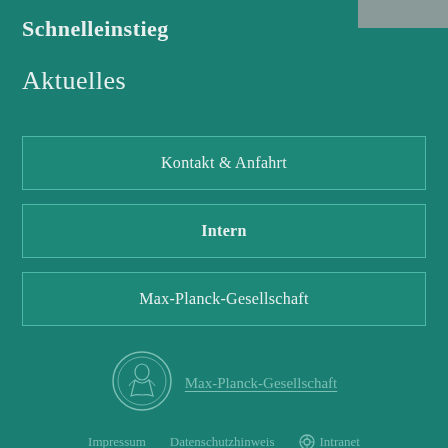Schnelleinstieg
Aktuelles
Kontakt & Anfahrt
Intern
Max-Planck-Gesellschaft
[Figure (logo): Max-Planck-Gesellschaft circular medallion logo with classical figure]
Max-Planck-Gesellschaft
Impressum    Datenschutzhinweis    ⊙ Intranet
© 2022, Max-Planck-Institut für Bildungsforschung